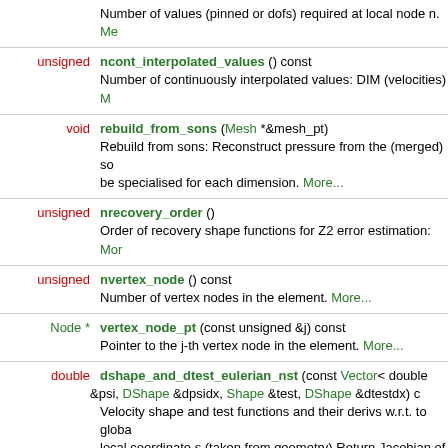Number of values (pinned or dofs) required at local node n. More...
unsigned ncont_interpolated_values () const — Number of continuously interpolated values: DIM (velocities) More...
void rebuild_from_sons (Mesh *&mesh_pt) — Rebuild from sons: Reconstruct pressure from the (merged) sons. be specialised for each dimension. More...
unsigned nrecovery_order () — Order of recovery shape functions for Z2 error estimation: More...
unsigned nvertex_node () const — Number of vertex nodes in the element. More...
Node * vertex_node_pt (const unsigned &j) const — Pointer to the j-th vertex node in the element. More...
double dshape_and_dtest_eulerian_nst (const Vector< double > &psi, DShape &dpsidx, Shape &test, DShape &dtestdx) c — Velocity shape and test functions and their derivs w.r.t. to global local coordinate s (taken from geometry) Return Jacobian of m...